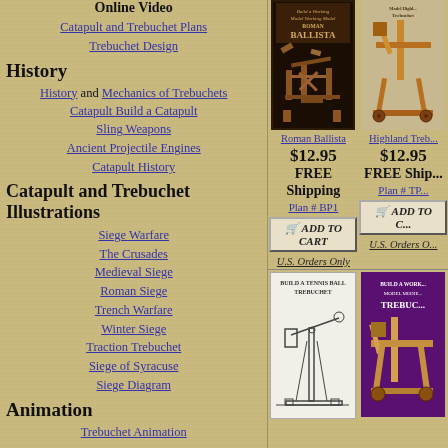Online Video
Catapult and Trebuchet Plans
Trebuchet Design
History
History and Mechanics of Trebuchets
Catapult Build a Catapult
Sling Weapons
Ancient Projectile Engines
Catapult History
Catapult and Trebuchet Illustrations
Siege Warfare
The Crusades
Medieval Siege
Roman Siege
Trench Warfare
Winter Siege
Traction Trebuchet
Siege of Syracuse
Siege Diagram
Animation
Trebuchet Animation
[Figure (photo): Roman Ballista wooden model product image with dark background]
Roman Ballista
$12.95 FREE Shipping
Plan # BP1
ADD TO CART
U.S. Orders Only
[Figure (photo): Highland Trebuchet wooden model product image]
Highland Treb...
$12.95 FREE Shipping
Plan # TP...
ADD TO CART
U.S. Orders O...
[Figure (illustration): Build a Tennis Ball Trebuchet line drawing diagram]
[Figure (photo): Build a Working Model Medieval Trebuchet product image on purple background]